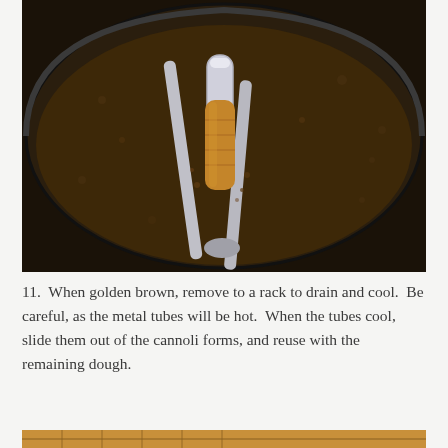[Figure (photo): A cannoli shell on a metal tube being fried in dark oil in a cast iron pan, held by metal tongs]
11.  When golden brown, remove to a rack to drain and cool.  Be careful, as the metal tubes will be hot.  When the tubes cool, slide them out of the cannoli forms, and reuse with the remaining dough.
[Figure (photo): Partial view of fried cannoli shells on a cooling rack, cropped at bottom of page]